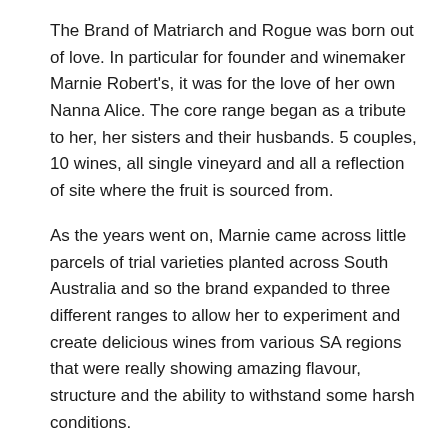The Brand of Matriarch and Rogue was born out of love. In particular for founder and winemaker Marnie Robert's, it was for the love of her own Nanna Alice. The core range began as a tribute to her, her sisters and their husbands. 5 couples, 10 wines, all single vineyard and all a reflection of site where the fruit is sourced from.
As the years went on, Marnie came across little parcels of trial varieties planted across South Australia and so the brand expanded to three different ranges to allow her to experiment and create delicious wines from various SA regions that were really showing amazing flavour, structure and the ability to withstand some harsh conditions.
Matriarch & Rogue have a few ranges now and some that are rare, small batch wines and have only just started to grow in Australia.
“I feel honoured to be one of the first to make my interpretation of these varieties” says Marnie. Some of her wines are